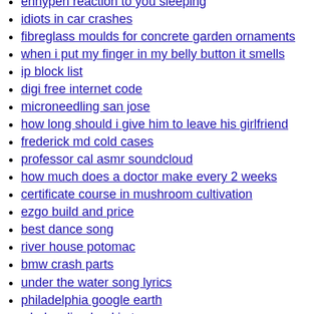ennypen reaction to you sleeping
idiots in car crashes
fibreglass moulds for concrete garden ornaments
when i put my finger in my belly button it smells
ip block list
digi free internet code
microneedling san jose
how long should i give him to leave his girlfriend
frederick md cold cases
professor cal asmr soundcloud
how much does a doctor make every 2 weeks
certificate course in mushroom cultivation
ezgo build and price
best dance song
river house potomac
bmw crash parts
under the water song lyrics
philadelphia google earth
wholesaling land in texas
monster hunter x pokemon fanfiction
g2 vanilla forums
cinemahd reddit
disco elysium loading screen stuck
300mb movies websites
mopar 82215184 jeep wrangler locking gas cap
...